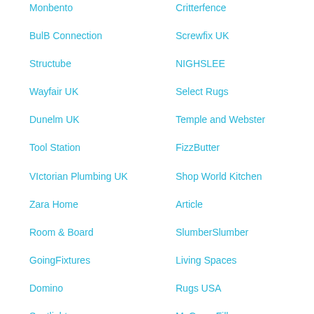Monbento
Critterfence
BulB Connection
Screwfix UK
Structube
NIGHSLEE
Wayfair UK
Select Rugs
Dunelm UK
Temple and Webster
Tool Station
FizzButter
VIctorian Plumbing UK
Shop World Kitchen
Zara Home
Article
Room & Board
SlumberSlumber
GoingFixtures
Living Spaces
Domino
Rugs USA
Spotlight
MyGreenFills